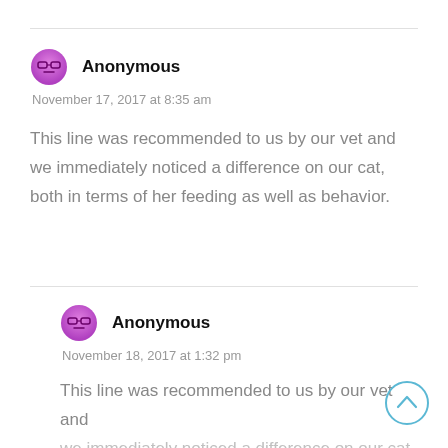Anonymous
November 17, 2017 at 8:35 am
This line was recommended to us by our vet and we immediately noticed a difference on our cat, both in terms of her feeding as well as behavior.
Anonymous
November 18, 2017 at 1:32 pm
This line was recommended to us by our vet and we immediately noticed a difference on our cat,